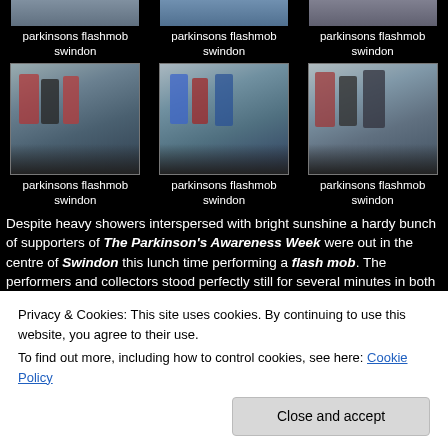[Figure (photo): Partial top strip of parkinsons flashmob swindon photo 1]
[Figure (photo): Partial top strip of parkinsons flashmob swindon photo 2]
[Figure (photo): Partial top strip of parkinsons flashmob swindon photo 3]
parkinsons flashmob swindon
parkinsons flashmob swindon
parkinsons flashmob swindon
[Figure (photo): Street scene parkinsons flashmob swindon - people standing still on street]
[Figure (photo): Street scene parkinsons flashmob swindon - people in blue and red jackets]
[Figure (photo): Street scene parkinsons flashmob swindon - group of elderly people walking]
parkinsons flashmob swindon
parkinsons flashmob swindon
parkinsons flashmob swindon
Despite heavy showers interspersed with bright sunshine a hardy bunch of supporters of The Parkinson's Awareness Week were out in the centre of Swindon this lunch time performing a flash mob. The performers and collectors stood perfectly still for several minutes in both Wharf Green and Regent Street. All in aid of raising the awareness of Parkinson's disease, something that could possibly affect any one of us.
Privacy & Cookies: This site uses cookies. By continuing to use this website, you agree to their use.
To find out more, including how to control cookies, see here: Cookie Policy
Close and accept